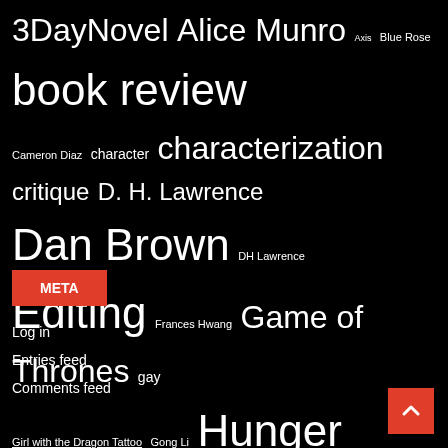[Figure (infographic): Tag cloud with various blog topic tags in different font sizes on a black background]
META
Log in
Entries feed
Comments feed